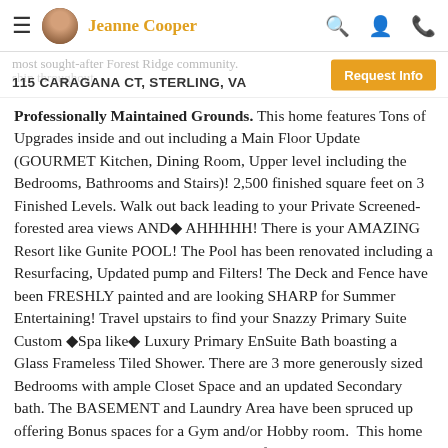Jeanne Cooper
115 CARAGANA CT, STERLING, VA
Professionally Maintained Grounds. This home features Tons of Upgrades inside and out including a Main Floor Update (GOURMET Kitchen, Dining Room, Upper level including the Bedrooms, Bathrooms and Stairs)! 2,500 finished square feet on 3 Finished Levels. Walk out back leading to your Private Screened-forested area views AND◆ AHHHHH! There is your AMAZING Resort like Gunite POOL! The Pool has been renovated including a Resurfacing, Updated pump and Filters! The Deck and Fence have been FRESHLY painted and are looking SHARP for Summer Entertaining! Travel upstairs to find your Snazzy Primary Suite Custom ◆Spa like◆ Luxury Primary EnSuite Bath boasting a Glass Frameless Tiled Shower. There are 3 more generously sized Bedrooms with ample Closet Space and an updated Secondary bath. The BASEMENT and Laundry Area have been spruced up offering Bonus spaces for a Gym and/or Hobby room. This home has been excellently maintained. Tons of Upgrades